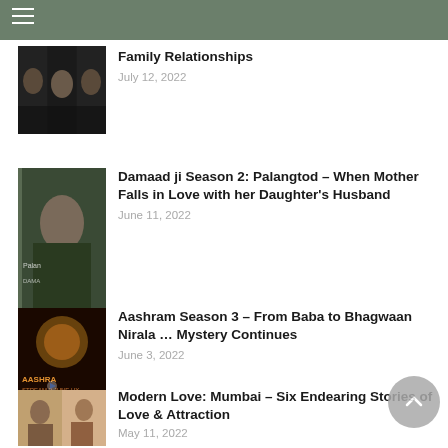☰ (navigation menu)
[Figure (photo): Dark dramatic film poster with faces]
Family Relationships
July 12, 2022
[Figure (photo): Damaad ji Season 2 Palangtod film poster with woman in green]
Damaad ji Season 2: Palangtod – When Mother Falls in Love with her Daughter's Husband
June 11, 2022
[Figure (photo): Aashram Season 3 promo poster with dark orange tones]
Aashram Season 3 – From Baba to Bhagwaan Nirala … Mystery Continues
June 3, 2022
[Figure (photo): Modern Love Mumbai colorful poster with couple]
Modern Love: Mumbai – Six Endearing Stories of Love & Attraction
May 11, 2022